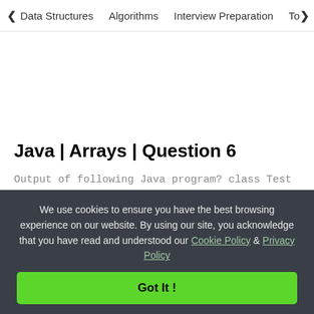< Data Structures   Algorithms   Interview Preparation   To>
Java | Arrays | Question 6
Output of following Java program? class Test {    public static void main (String[] args)     {      int arr1[] = {1, 2, 3};      int arr2 [] = {1,... Read More
Arrays   Java-Arrays   Java Quiz
We use cookies to ensure you have the best browsing experience on our website. By using our site, you acknowledge that you have read and understood our Cookie Policy & Privacy Policy
Got It !